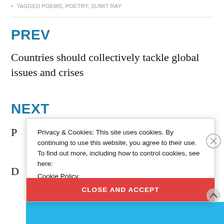• TAGGED POEMS, POETRY, SUMIT RAY
PREV
Countries should collectively tackle global issues and crises
NEXT
Privacy & Cookies: This site uses cookies. By continuing to use this website, you agree to their use.
To find out more, including how to control cookies, see here:
Cookie Policy
CLOSE AND ACCEPT